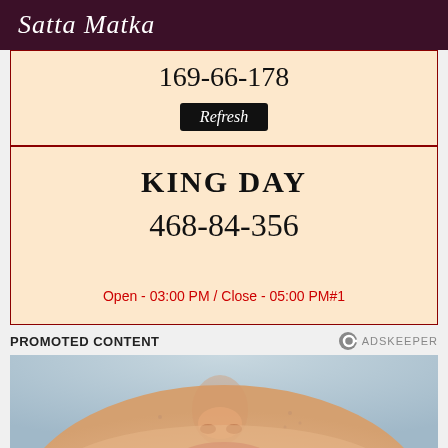Satta Matka
169-66-178
Refresh
KING DAY
468-84-356
Open - 03:00 PM / Close - 05:00 PM#1
PROMOTED CONTENT
[Figure (photo): Close-up photo of a person's face showing nose and lips area]